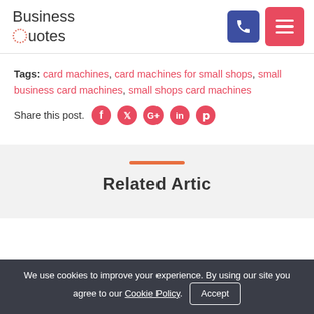[Figure (logo): Business Quotes logo with dotted circle O]
Tags: card machines, card machines for small shops, small business card machines, small shops card machines
Share this post.
[Figure (infographic): Social media share icons: Facebook, Twitter, Google+, LinkedIn, Pinterest]
[Figure (infographic): Orange horizontal bar divider]
Related Articles (partial, cropped)
We use cookies to improve your experience. By using our site you agree to our Cookie Policy. Accept